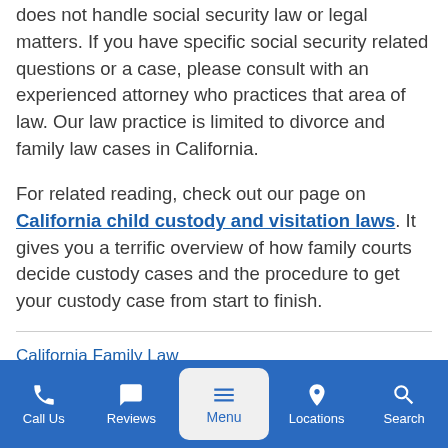does not handle social security law or legal matters. If you have specific social security related questions or a case, please consult with an experienced attorney who practices that area of law. Our law practice is limited to divorce and family law cases in California.
For related reading, check out our page on California child custody and visitation laws. It gives you a terrific overview of how family courts decide custody cases and the procedure to get your custody case from start to finish.
California Family Law
Call Us | Reviews | Menu | Locations | Search